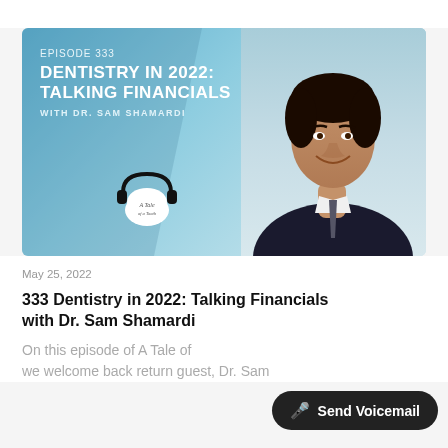[Figure (photo): Podcast episode card with blue gradient background. Text reads 'EPISODE 333 / DENTISTRY IN 2022: TALKING FINANCIALS / WITH DR. SAM SHAMARDI'. Center shows podcast logo (A Tale of a Tooth podcast - tooth with headphones). Right side shows headshot of Dr. Sam Shamardi, a man in a dark suit, smiling.]
May 25, 2022
333 Dentistry in 2022: Talking Financials with Dr. Sam Shamardi
On this episode of A Tale of ... we welcome back return guest, Dr. Sam